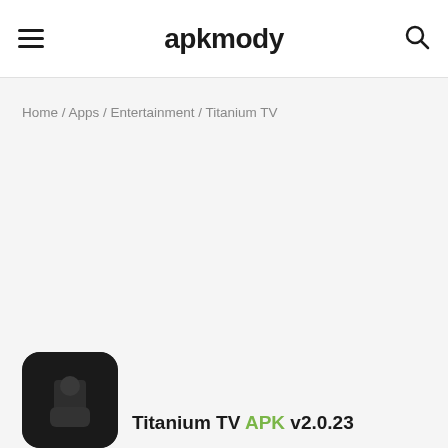apkmody
Home / Apps / Entertainment / Titanium TV
[Figure (screenshot): App icon thumbnail for Titanium TV — dark rounded square with a figure silhouette]
Titanium TV APK v2.0.23